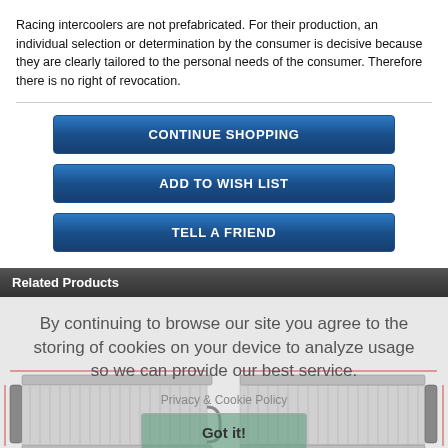Racing intercoolers are not prefabricated. For their production, an individual selection or determination by the consumer is decisive because they are clearly tailored to the personal needs of the consumer. Therefore there is no right of revocation.
[Figure (screenshot): CONTINUE SHOPPING button - blue gradient]
[Figure (screenshot): ADD TO WISH LIST button - blue gradient]
[Figure (screenshot): TELL A FRIEND button - blue gradient]
Related Products
By continuing to browse our site you agree to the storing of cookies on your device to analyze usage so we can provide our best service.
Privacy & Cookie Policy
Got it!
[Figure (engineering-diagram): Technical diagram of two intercooler units with dimension markings]